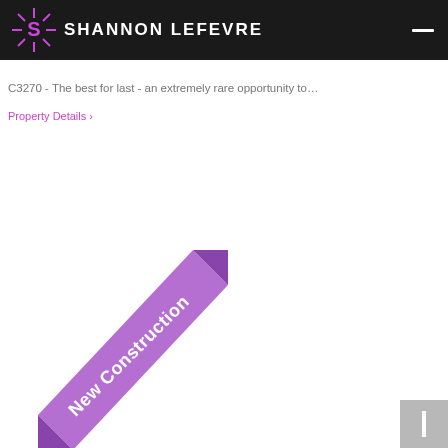SHANNON LEFEVRE
C3270 - The best for last - an extremely rare opportunity to…
Property Details ›
[Figure (illustration): Purple diagonal ribbon banner with text 'New Construction']
[Figure (other): Grey navigation arrow button]